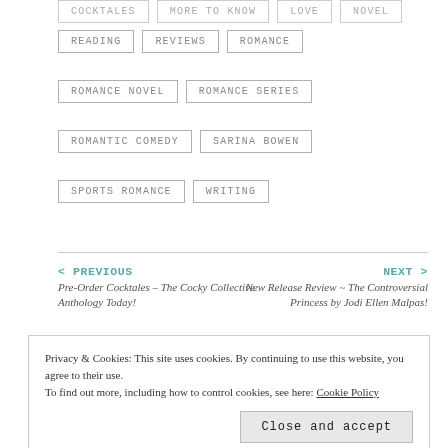READING
REVIEWS
ROMANCE
ROMANCE NOVEL
ROMANCE SERIES
ROMANTIC COMEDY
SARINA BOWEN
SPORTS ROMANCE
WRITING
< PREVIOUS
Pre-Order Cocktales – The Cocky Collective Anthology Today!
NEXT >
New Release Review ~ The Controversial Princess by Jodi Ellen Malpas!
Privacy & Cookies: This site uses cookies. By continuing to use this website, you agree to their use.
To find out more, including how to control cookies, see here: Cookie Policy
Close and accept